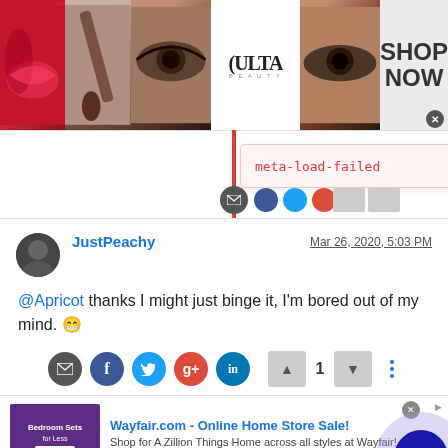[Figure (screenshot): Ulta Beauty advertisement banner with makeup imagery (lips, brush, eyes), Ulta logo, and 'SHOP NOW' call to action]
[Figure (screenshot): Error indicator showing 'meta-load-failed' text in red on a pink background panel with a red left border, and social sharing icons below]
JustPeachy
Mar 26, 2020, 5:03 PM
@Apricot thanks I might just binge it, I'm bored out of my mind. 😁
[Figure (screenshot): Social sharing buttons (email, Facebook, Twitter, Google+, LinkedIn), vote up/down buttons with count 1, and more options button]
[Figure (screenshot): Wayfair.com online advertisement showing bedroom furniture with text 'Wayfair.com - Online Home Store Sale!' and navigation arrow]